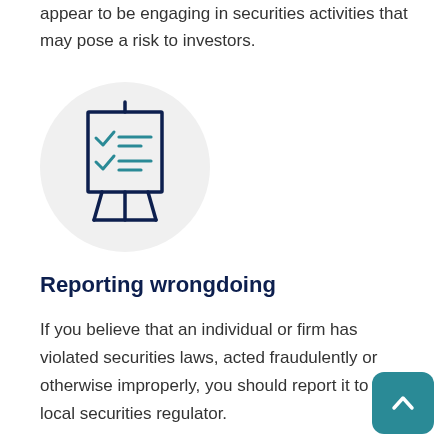appear to be engaging in securities activities that may pose a risk to investors.
[Figure (illustration): A checklist/presentation board icon inside a light grey circle. The board shows two checkmarks with horizontal lines, rendered in dark navy and teal colors, on an easel stand.]
Reporting wrongdoing
If you believe that an individual or firm has violated securities laws, acted fraudulently or otherwise improperly, you should report it to your local securities regulator.